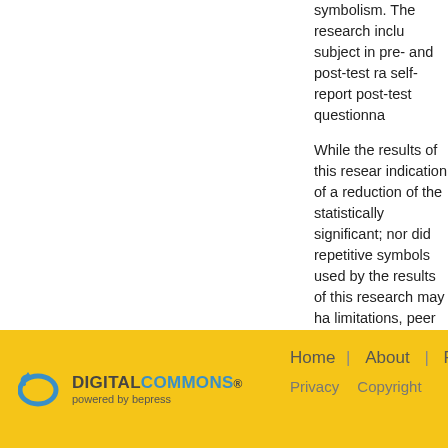symbolism. The research inclu subject in pre- and post-test ra self-report post-test questionna
While the results of this resear indication of a reduction of the statistically significant; nor did repetitive symbols used by the results of this research may ha limitations, peer group influenc impact of the researcher and e
Recommended Citation
Kafoury, Joyce M., "Group Art Th (1990). Art Therapy | Master's Th https://scholar.dominican.edu/art-
[Figure (logo): Digital Commons powered by bepress logo on yellow background]
Home | About | FAQ | M Privacy Copyright